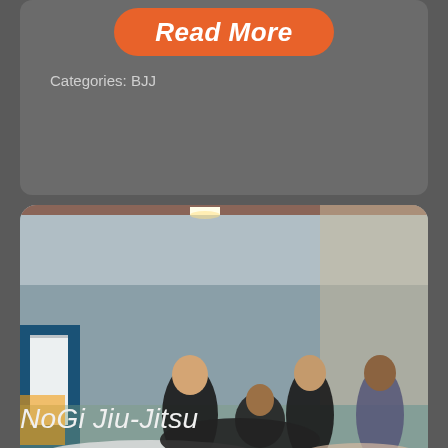Read More
Categories: BJJ
[Figure (photo): BJJ / martial arts training session indoors. Three men stand watching while two practitioners grapple on the floor mat. The gym has blue mats, medals on the wall, and a metal roof structure.]
NoGi Jiu-Jitsu